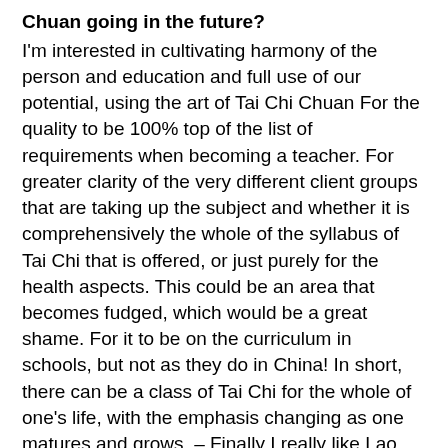Chuan going in the future?
I'm interested in cultivating harmony of the person and education and full use of our potential, using the art of Tai Chi Chuan For the quality to be 100% top of the list of requirements when becoming a teacher. For greater clarity of the very different client groups that are taking up the subject and whether it is comprehensively the whole of the syllabus of Tai Chi that is offered, or just purely for the health aspects. This could be an area that becomes fudged, which would be a great shame. For it to be on the curriculum in schools, but not as they do in China! In short, there can be a class of Tai Chi for the whole of one's life, with the emphasis changing as one matures and grows. – Finally I really like Lao Tzu's words: “The way to do, is to be”.